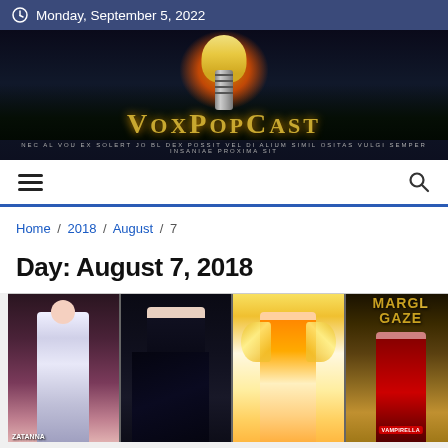Monday, September 5, 2022
[Figure (screenshot): VoxPopCast website banner with a flaming skull microphone logo and the text VOXPOPCAST]
[Figure (screenshot): Navigation bar with hamburger menu icon on the left and search icon on the right]
Home / 2018 / August / 7
Day: August 7, 2018
[Figure (photo): Comic book covers showing four panels: a female figure in white/silver, a dark caped figure, a fairy/fantasy female figure, and a Vampirella comic with MARVEL GAZE text]